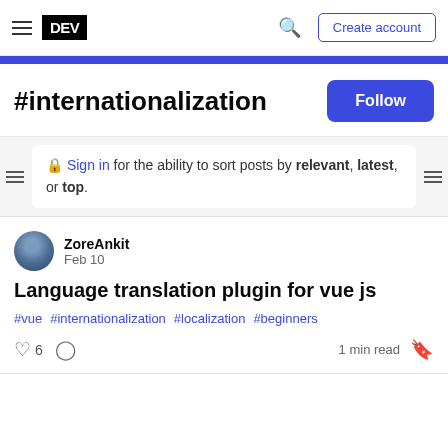DEV — Create account
#internationalization
🔒 Sign in for the ability to sort posts by relevant, latest, or top.
ZoreAnkit
Feb 10
Language translation plugin for vue js
#vue #internationalization #localization #beginners
6   1 min read